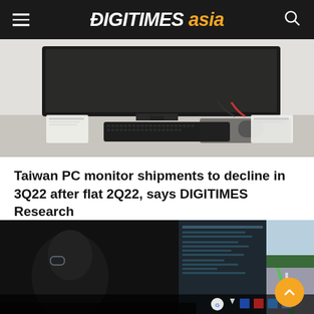DIGITIMES asia
[Figure (photo): Top-down view of a computer desk with a large curved monitor, black keyboard, mouse and mousepad, with white label cards visible]
Taiwan PC monitor shipments to decline in 3Q22 after flat 2Q22, says DIGITIMES Research
[Figure (photo): Person sitting in front of a screen showing autonomous driving simulation with a green road lane and trees, viewed from behind]